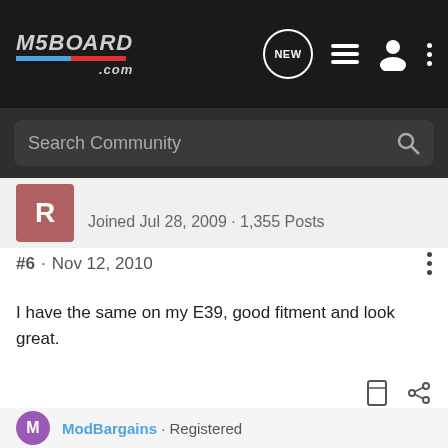M5BOARD.com
Search Community
Joined Jul 28, 2009 · 1,355 Posts
#6 · Nov 12, 2010
I have the same on my E39, good fitment and look great.
M5 Silverstone Ext/Int
Dinan Stage3 Suspension
ModBargains · Registered